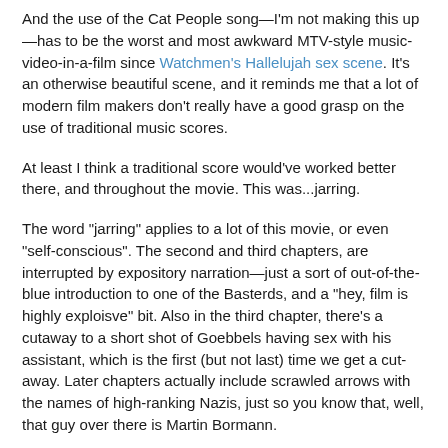And the use of the Cat People song—I'm not making this up—has to be the worst and most awkward MTV-style music-video-in-a-film since Watchmen's Hallelujah sex scene. It's an otherwise beautiful scene, and it reminds me that a lot of modern film makers don't really have a good grasp on the use of traditional music scores.
At least I think a traditional score would've worked better there, and throughout the movie. This was...jarring.
The word "jarring" applies to a lot of this movie, or even "self-conscious". The second and third chapters, are interrupted by expository narration—just a sort of out-of-the-blue introduction to one of the Basterds, and a "hey, film is highly exploisve" bit. Also in the third chapter, there's a cutaway to a short shot of Goebbels having sex with his assistant, which is the first (but not last) time we get a cut-away. Later chapters actually include scrawled arrows with the names of high-ranking Nazis, just so you know that, well, that guy over there is Martin Bormann.
I guess that was supposed to be part of the fun? The